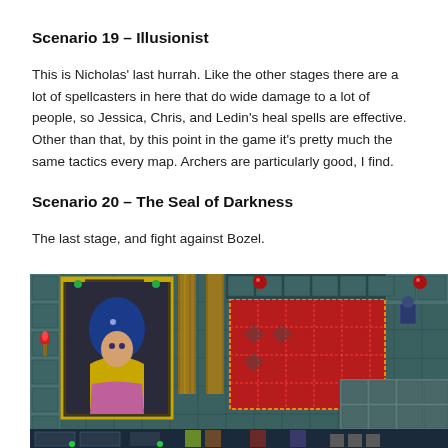Scenario 19 – Illusionist
This is Nicholas' last hurrah. Like the other stages there are a lot of spellcasters in here that do wide damage to a lot of people, so Jessica, Chris, and Ledin's heal spells are effective. Other than that, by this point in the game it's pretty much the same tactics every map. Archers are particularly good, I find.
Scenario 20 – The Seal of Darkness
The last stage, and fight against Bozel.
[Figure (screenshot): A video game screenshot showing a fantasy RPG battle scene with a character portrait on the left side (character with blue hair and golden armor), stone dungeon walls, a large red highlighted area on the right indicating a battle zone, candles/torches, and enemy characters.]